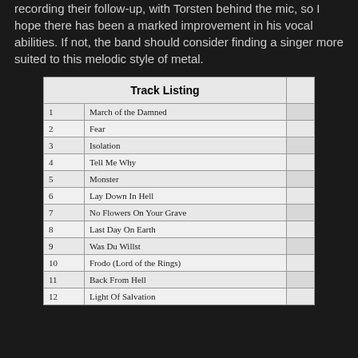recording their follow-up, with Torsten behind the mic, so I hope there has been a marked improvement in his vocal abilities. If not, the band should consider finding a singer more suited to this melodic style of metal.
| Track Listing |  |  |
| --- | --- | --- |
| 1 | March of the Damned |  |
| 2 | Fear |  |
| 3 | Isolation |  |
| 4 | Tell Me Why |  |
| 5 | Monster |  |
| 6 | Lay Down In Hell |  |
| 7 | No Flowers On Your Grave |  |
| 8 | Last Day On Earth |  |
| 9 | Was Du Willst |  |
| 10 | Frodo (Lord of the Rings) |  |
| 11 | Back From Hell |  |
| 12 | Light Of Salvation |  |